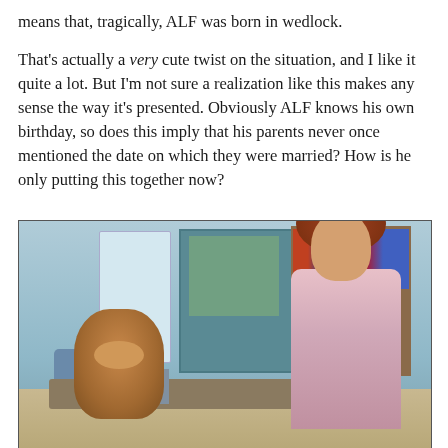means that, tragically, ALF was born in wedlock.
That's actually a very cute twist on the situation, and I like it quite a lot. But I'm not sure a realization like this makes any sense the way it's presented. Obviously ALF knows his own birthday, so does this imply that his parents never once mentioned the date on which they were married? How is he only putting this together now?
[Figure (photo): A still from the TV show ALF showing the ALF puppet seated at a table with a woman with curly red hair in a pink sweater, in a living room/kitchen setting with bookshelves and appliances in the background.]